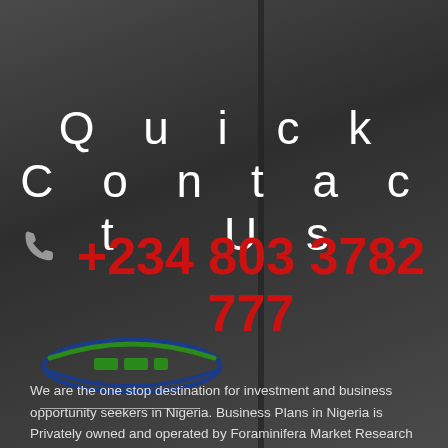Quick Contact Us
+234 803 3782 777
[Figure (logo): Foraminifera Market Research logo - oval shape with green and blue swooshes and green rectangular elements in the center]
We are the one stop destination for investment and business opportunity seekers in Nigeria. Business Plans in Nigeria is Privately owned and operated by Foraminifera Market Research